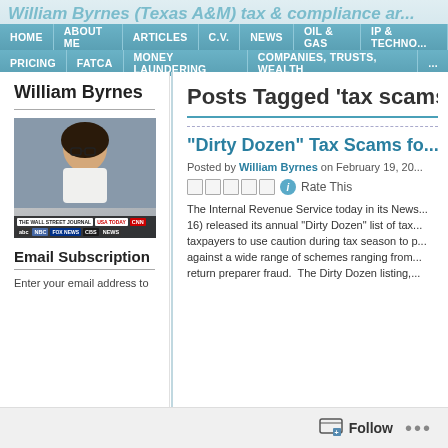William Byrnes (Texas A&M) tax & compliance and...
HOME | ABOUT ME | ARTICLES | C.V. | NEWS | OIL & GAS | IP & TECHNO... | PRICING | FATCA | MONEY LAUNDERING | COMPANIES, TRUSTS, WEALTH | ...
William Byrnes
[Figure (photo): Photo of William Byrnes with media outlet logos (Wall Street Journal, USA Today, CNN, ABC, NBC, Fox News, CBS News) at the bottom]
Email Subscription
Enter your email address to
Posts Tagged 'tax scams'
“Dirty Dozen” Tax Scams fo...
Posted by William Byrnes on February 19, 20...
Rate This
The Internal Revenue Service today in its News... 16) released its annual "Dirty Dozen" list of tax... taxpayers to use caution during tax season to p... against a wide range of schemes ranging from... return preparer fraud. The Dirty Dozen listing,...
Follow ...